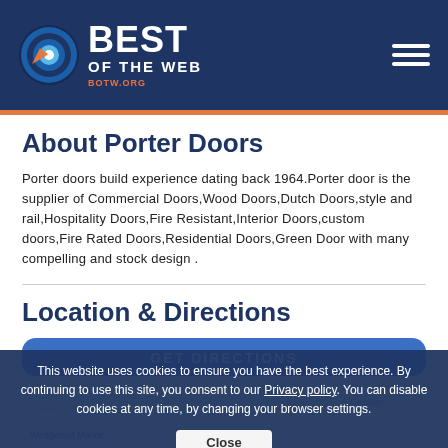[Figure (logo): Best of the Web (BOTW.ORG) logo with circular target icon on dark navy background header]
About Porter Doors
Porter doors build experience dating back 1964.Porter door is the supplier of Commercial Doors,Wood Doors,Dutch Doors,style and rail,Hospitality Doors,Fire Resistant,Interior Doors,custom doors,Fire Rated Doors,Residential Doors,Green Door with many compelling and stock design .
Location & Directions
GET DIRECTIONS
This website uses cookies to ensure you have the best experience. By continuing to use this site, you consent to our Privacy policy. You can disable cookies at any time, by changing your browser settings.